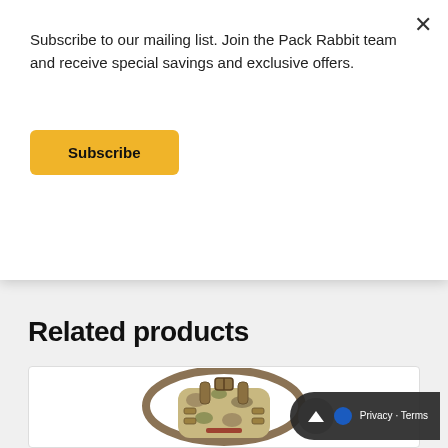Subscribe to our mailing list. Join the Pack Rabbit team and receive special savings and exclusive offers.
Subscribe
$74.99 – $84.99
Related products
[Figure (photo): Top-down view of a camouflage tactical/military backpack with frame and straps visible]
Privacy · Terms